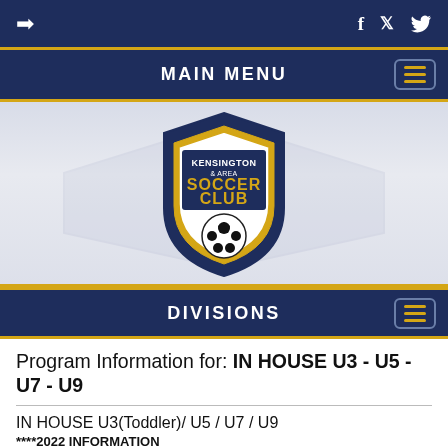Login icon | Facebook icon | Twitter icon
MAIN MENU
[Figure (logo): Kensington & Area Soccer Club shield logo with soccer ball, blue and yellow colors, on a light gray background with watermark.]
DIVISIONS
Program Information for: IN HOUSE U3 - U5 - U7 - U9
IN HOUSE U3(Toddler)/ U5 / U7 / U9
****2022 INFORMATION